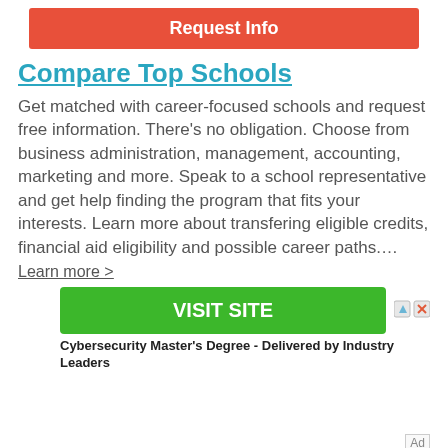Request Info
Compare Top Schools
Get matched with career-focused schools and request free information. There's no obligation. Choose from business administration, management, accounting, marketing and more. Speak to a school representative and get help finding the program that fits your interests. Learn more about transfering eligible credits, financial aid eligibility and possible career paths....
Learn more >
VISIT SITE
Cybersecurity Master's Degree - Delivered by Industry Leaders
Ad